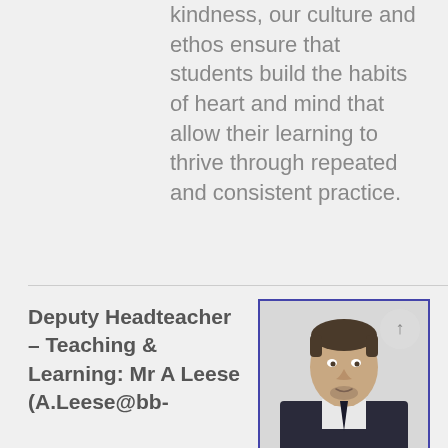kindness, our culture and ethos ensure that students build the habits of heart and mind that allow their learning to thrive through repeated and consistent practice.
Deputy Headteacher – Teaching & Learning: Mr A Leese (A.Leese@bb-
[Figure (photo): Headshot photo of Mr A Leese, Deputy Headteacher for Teaching & Learning, a man in a suit with short dark hair and a beard, with a blue border frame and a circular up-arrow button overlay in the top right]